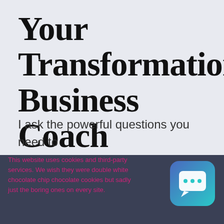Your Transformational Business Coach
I ask the powerful questions you need to build a thriving, resilient, prosperous
This website uses cookies and third-party services. We wish they were double white chocolate chip chocolate cookies but sadly just the boring ones on every site.
[Figure (illustration): Chat bubble app icon with teal gradient background and white speech bubble with three dots]